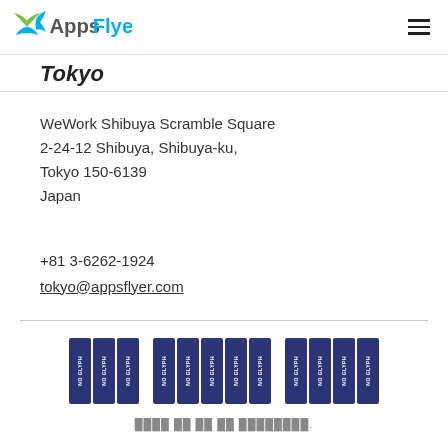AppsFlyer
Tokyo
WeWork Shibuya Scramble Square
2-24-12 Shibuya, Shibuya-ku,
Tokyo 150-6139
Japan
+81 3-6262-1924
tokyo@appsflyer.com
[Figure (logo): Row of dark blue vertical icon badges followed by footer text in Japanese characters]
Social media icons and footer copyright line